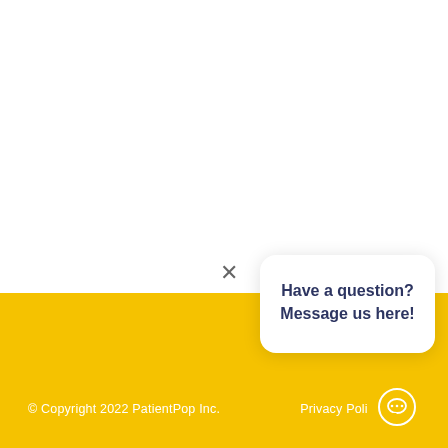[Figure (screenshot): Chat widget popup with close X button and message bubble saying 'Have a question? Message us here!' on a white background above a yellow footer.]
Have a question? Message us here!
© Copyright 2022 PatientPop Inc.   Privacy Poli…